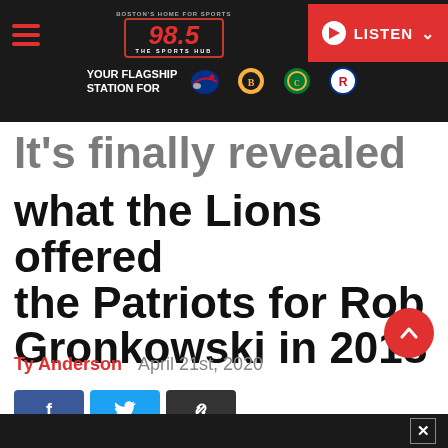98.5 The Sports Hub — Boston's Home for Sports — YOUR FLAGSHIP STATION FOR — LISTEN
It's finally revealed what the Lions offered the Patriots for Rob Gronkowski in 2018
Ty Anderson   April 21st, 2020